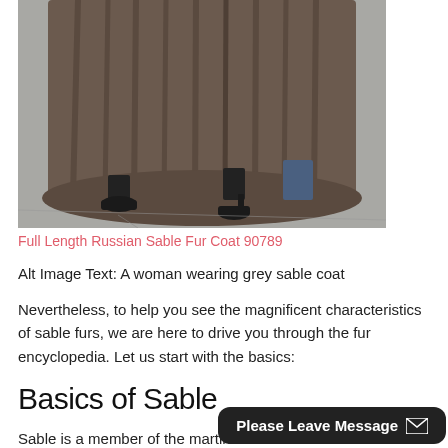[Figure (photo): Lower body of a woman wearing a full-length grey/brown Russian sable fur coat and black high heels, walking on a sidewalk]
Full Length Russian Sable Fur Coat 90789
Alt Image Text: A woman wearing grey sable coat
Nevertheless, to help you see the magnificent characteristics of sable furs, we are here to drive you through the fur encyclopedia. Let us start with the basics:
Basics of Sable
Sable is a member of the martin ca...